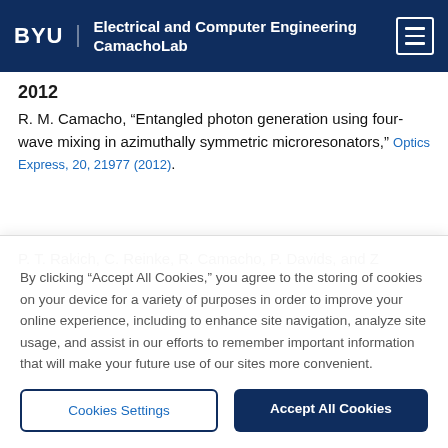BYU | Electrical and Computer Engineering CamachoLab
2012
R. M. Camacho, “Entangled photon generation using four-wave mixing in azimuthally symmetric microresonators,” Optics Express, 20, 21977 (2012).
P. T. Rakich, C. Reinke, R. Camacho, P. Davids, and Z
By clicking “Accept All Cookies,” you agree to the storing of cookies on your device for a variety of purposes in order to improve your online experience, including to enhance site navigation, analyze site usage, and assist in our efforts to remember important information that will make your future use of our sites more convenient.
Cookies Settings
Accept All Cookies